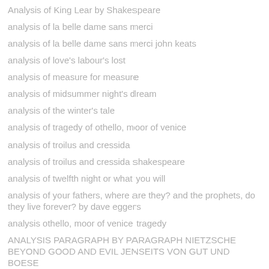Analysis of King Lear by Shakespeare
analysis of la belle dame sans merci
analysis of la belle dame sans merci john keats
analysis of love's labour's lost
analysis of measure for measure
analysis of midsummer night's dream
analysis of the winter's tale
analysis of tragedy of othello, moor of venice
analysis of troilus and cressida
analysis of troilus and cressida shakespeare
analysis of twelfth night or what you will
analysis of your fathers, where are they? and the prophets, do they live forever? by dave eggers
analysis othello, moor of venice tragedy
ANALYSIS PARAGRAPH BY PARAGRAPH NIETZSCHE BEYOND GOOD AND EVIL JENSEITS VON GUT UND BOESE
analysis the merry wives of windsor